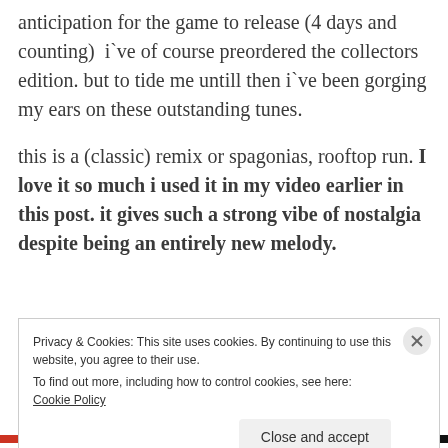anticipation for the game to release (4 days and counting)  i`ve of course preordered the collectors edition. but to tide me untill then i`ve been gorging my ears on these outstanding tunes.
this is a (classic) remix or spagonias, rooftop run. I love it so much i used it in my video earlier in this post. it gives such a strong vibe of nostalgia despite being an entirely new melody.
Privacy & Cookies: This site uses cookies. By continuing to use this website, you agree to their use. To find out more, including how to control cookies, see here: Cookie Policy